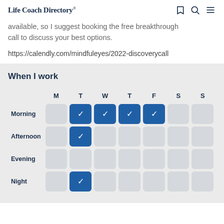Life Coach Directory®
available, so I suggest booking the free breakthrough call to discuss your best options.
https://calendly.com/mindfuleyes/2022-discoverycall
When I work
|  | M | T | W | T | F | S | S |
| --- | --- | --- | --- | --- | --- | --- | --- |
| Morning |  | ✓ | ✓ | ✓ | ✓ |  |  |
| Afternoon |  | ✓ |  |  |  |  |  |
| Evening |  |  |  |  |  |  |  |
| Night |  | ✓ |  |  |  |  |  |